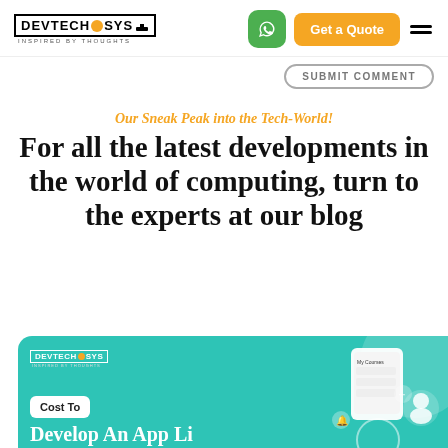DevTechnoSys — Inspired by Thoughts | Get a Quote
SUBMIT COMMENT
Our Sneak Peak into the Tech-World!
For all the latest developments in the world of computing, turn to the experts at our blog
[Figure (screenshot): DevTechnoSys blog card on teal/green background with logo, 'Cost To' button, partial title 'Develop An App Li...' and decorative circles and UI mockup illustrations]